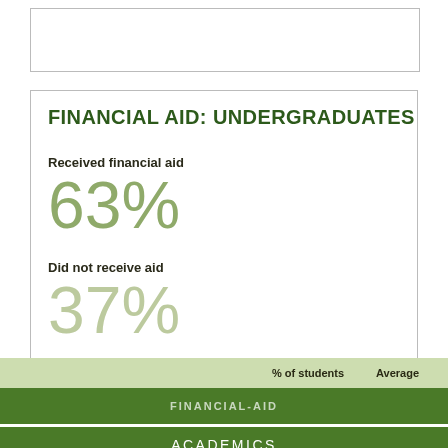FINANCIAL AID: UNDERGRADUATES
Received financial aid
63%
Did not receive aid
37%
% of students     Average
FINANCIAL-AID
ACADEMICS
ADMISSIONS
STUDENT LIFE